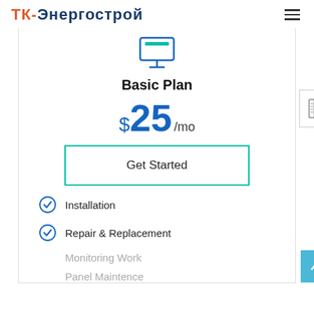ТК-Энергострой
[Figure (illustration): Monitor/computer screen icon in teal/blue outline style]
Basic Plan
$25/mo
Get Started
Installation
Repair & Replacement
Monitoring Work
Panel Maintence